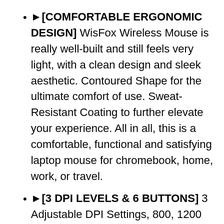►[COMFORTABLE ERGONOMIC DESIGN] WisFox Wireless Mouse is really well-built and still feels very light, with a clean design and sleek aesthetic. Contoured Shape for the ultimate comfort of use. Sweat-Resistant Coating to further elevate your experience. All in all, this is a comfortable, functional and satisfying laptop mouse for chromebook, home, work, or travel.
►[3 DPI LEVELS & 6 BUTTONS] 3 Adjustable DPI Settings, 800, 1200 and 1600. This computer mouse gives precision tracking on just about any surface, with a DPI button helping to change the sensitivity on the fly. Extra 2 Side Buttons ideal for both work and